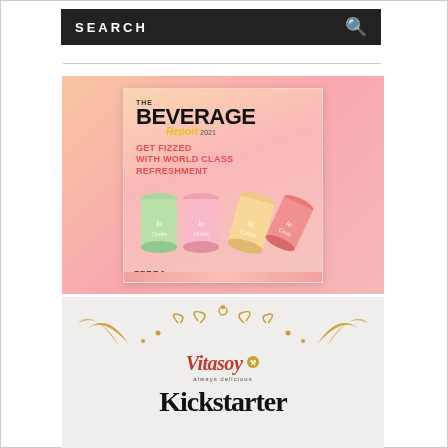SEARCH
[Figure (illustration): The Beverage Report 2021 magazine cover featuring La Croix sparkling water cans on a pink gradient background, with text 'GET FIZZED WITH WORLD CLASS REFRESHMENT' and Zebra branding at the bottom]
[Figure (logo): Vitasoy brand logo in red italic script with golden decorative ornamental swirls, and Kickstarter text below in bold serif font, on a light marble-texture background]